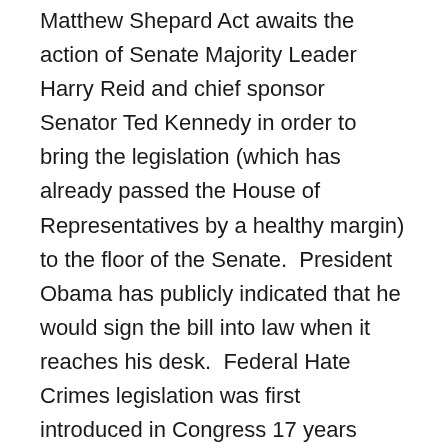Matthew Shepard Act awaits the action of Senate Majority Leader Harry Reid and chief sponsor Senator Ted Kennedy in order to bring the legislation (which has already passed the House of Representatives by a healthy margin) to the floor of the Senate.  President Obama has publicly indicated that he would sign the bill into law when it reaches his desk.  Federal Hate Crimes legislation was first introduced in Congress 17 years ago.  So much has happened since, and so many have needlessly died.  With the Hebrew Prophets, the ministers, rabbis, and priests meeting for Clergy Call 2009 cry out, “How long, O Lord?”
The gathering of large contingents of LGBT Clergy and Allies to lobby for passage of fully inclusive hate crimes federal legislation, first in 2007 and now, has done much to persuade fence-sitting members of Congress that the radical right does not own the religious vote on this issue.